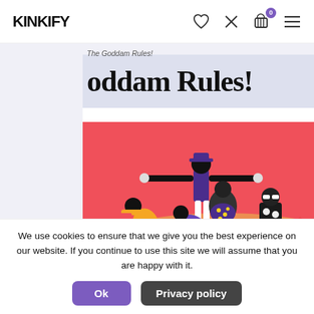KINKIFY
The Goddam Rules!
oddam Rules!
[Figure (illustration): Colorful flat illustration on a pink/red background showing a group of stylized figures in various poses — one standing with arms outstretched wearing purple, others crouching or lying down in black, white, and purple outfits.]
We use cookies to ensure that we give you the best experience on our website. If you continue to use this site we will assume that you are happy with it.
Ok
Privacy policy